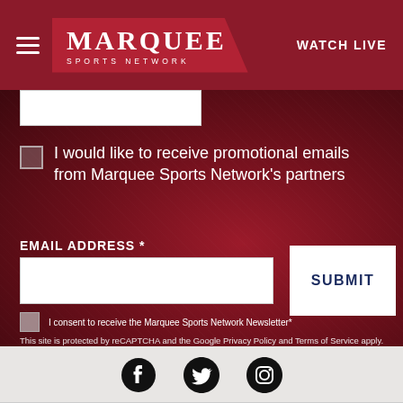MARQUEE SPORTS NETWORK | WATCH LIVE
I would like to receive promotional emails from Marquee Sports Network's partners
EMAIL ADDRESS *
SUBMIT
I consent to receive the Marquee Sports Network Newsletter*
This site is protected by reCAPTCHA and the Google Privacy Policy and Terms of Service apply.
[Figure (infographic): Social media icons: Facebook, Twitter, Instagram]